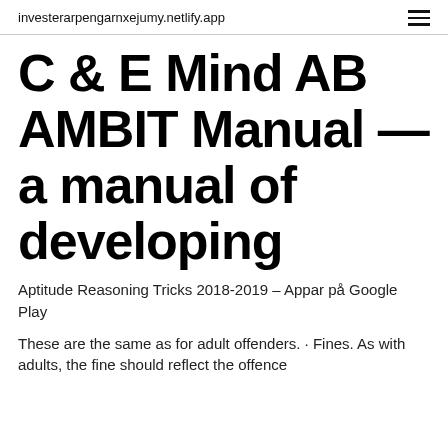investerarpengarnxejumy.netlify.app
C & E Mind AB AMBIT Manual — a manual of developing
Aptitude Reasoning Tricks 2018-2019 – Appar på Google Play
These are the same as for adult offenders. · Fines. As with adults, the fine should reflect the offence